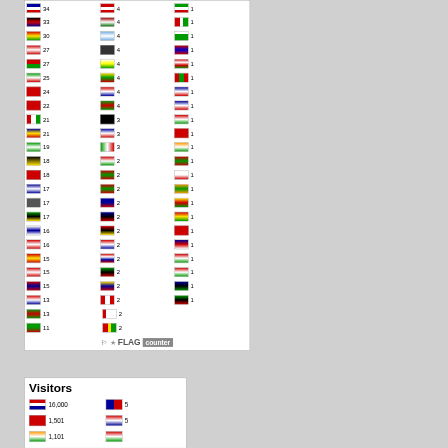[Figure (infographic): Flag counter widget showing country flags with visitor counts in three columns. Column 1: flags with counts 34,33,30,27,27,25,24,22,21,21,19,18,18,17,17,17,16,16,15,15,15,13,13,11. Column 2: flags with counts 4,4,4,4,4,4,4,4,3,3,3,2,2,2,2,2,2,2,2,2,2,2,2,2,2. Column 3: flags with counts 1,1,1,1,1,1,1,1,1,1,1,1,1,1,1,1,1,1,1,1,1,1,1. Footer: FLAG counter logo.]
[Figure (infographic): Visitors widget showing country flags with visitor counts. US: 16,000; China: 1,501; third flag: 1,101 (partial). Nepal: 5; Croatia: 5; partial row visible.]